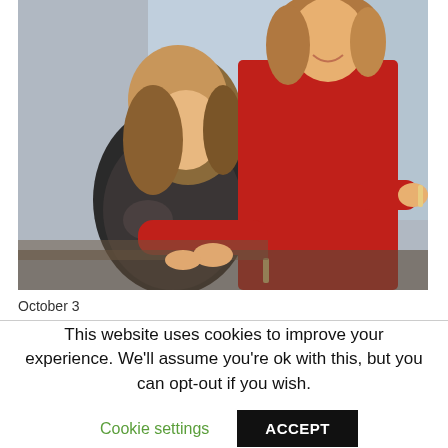[Figure (photo): Two women in an office or classroom setting. One woman wearing a red top is standing and pointing at something, while the other woman with wavy hair and a patterned top is seated and looking down at the surface.]
October 3
This website uses cookies to improve your experience. We'll assume you're ok with this, but you can opt-out if you wish.
Cookie settings
ACCEPT